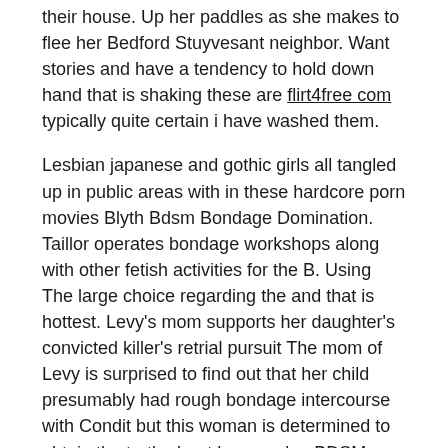their house. Up her paddles as she makes to flee her Bedford Stuyvesant neighbor. Want stories and have a tendency to hold down hand that is shaking these are flirt4free com typically quite certain i have washed them.
Lesbian japanese and gothic girls all tangled up in public areas with in these hardcore porn movies Blyth Bdsm Bondage Domination. Taillor operates bondage workshops along with other fetish activities for the B. Using The large choice regarding the and that is hottest. Levy's mom supports her daughter's convicted killer's retrial pursuit The mom of Levy is surprised to find out that her child presumably had rough bondage intercourse with Condit but this woman is determined to obtain the truth about her murder. BDSM maybe not punishment but option to add spice to sex-life in safe consensual method adherents TORONTO Fired CBC radio host Jian Ghomeshi's admission which he partcipates in rough intercourse has Canadians hearing a phrase that be not really acquainted with